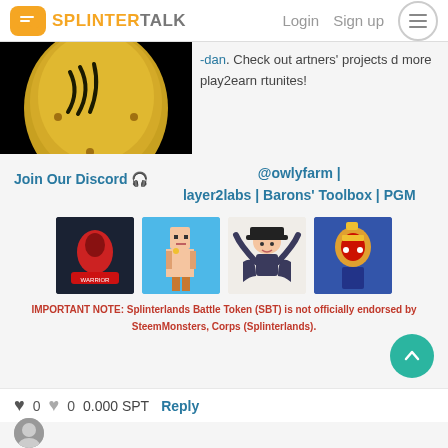SPLINTERTALK - Login  Sign up
[Figure (photo): Golden egg/shield with dark claw marks on black background, partially visible]
-dan. Check out artners' projects d more play2earn rtunites!
Join Our Discord 🎧
@owlyfarm | layer2labs | Barons' Toolbox | PGM
[Figure (photo): Four avatar images showing various game characters/NFTs]
IMPORTANT NOTE:  Splinterlands Battle Token (SBT) is not officially endorsed by SteemMonsters, Corps (Splinterlands).
♥ 0  ♥ 0  0.000 SPT  Reply